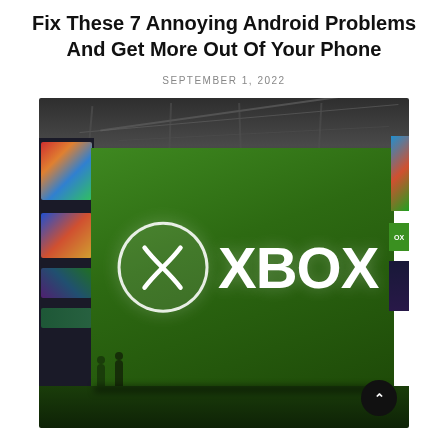Fix These 7 Annoying Android Problems And Get More Out Of Your Phone
SEPTEMBER 1, 2022
[Figure (photo): Large green Xbox billboard/display stand in an exhibition hall or convention center, showing the Xbox logo (white circle with X symbol) and XBOX text in white on a dark green background. Left and right sides show colorful display screens. People visible in background.]